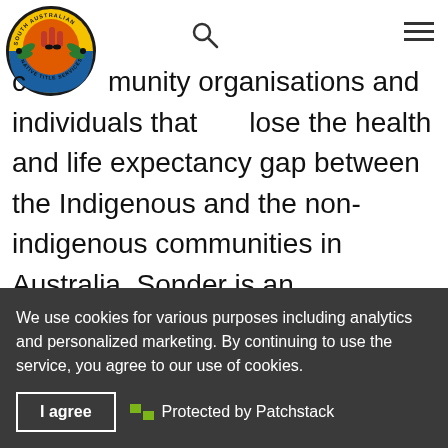[Figure (logo): South Australian Native Title Services circular logo with Aboriginal imagery on orange/blue background]
community organisations and individuals that close the health and life expectancy gap between the Indigenous and the non-indigenous communities in Australia. Sonder is an organisation which delivers a range of integrated community health services across metropolitan …
We use cookies for various purposes including analytics and personalized marketing. By continuing to use the service, you agree to our use of cookies.
I agree
Protected by Patchstack